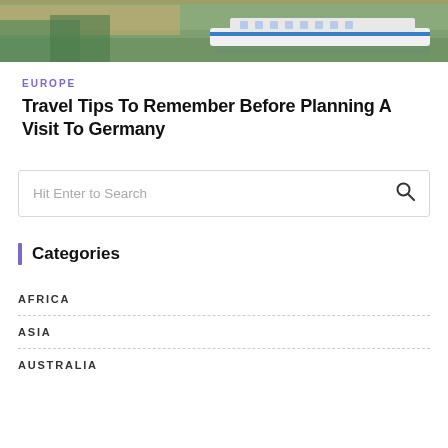[Figure (photo): A cruise or river boat on water, colorful scenic photo used as hero banner image]
EUROPE
Travel Tips To Remember Before Planning A Visit To Germany
Hit Enter to Search
Categories
AFRICA
ASIA
AUSTRALIA